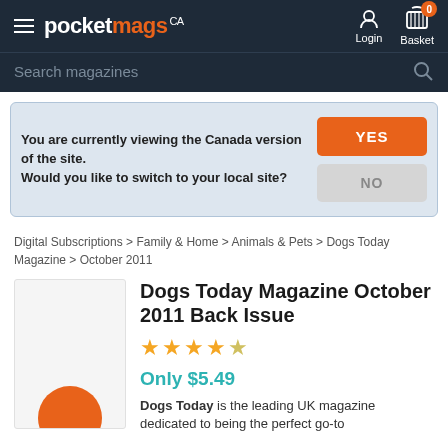pocketmags CA — Login — Basket 0
Search magazines
You are currently viewing the Canada version of the site. Would you like to switch to your local site? YES NO
Digital Subscriptions > Family & Home > Animals & Pets > Dogs Today Magazine > October 2011
Dogs Today Magazine October 2011 Back Issue
★★★★☆
Only $5.49
Dogs Today is the leading UK magazine dedicated to being the perfect go-to